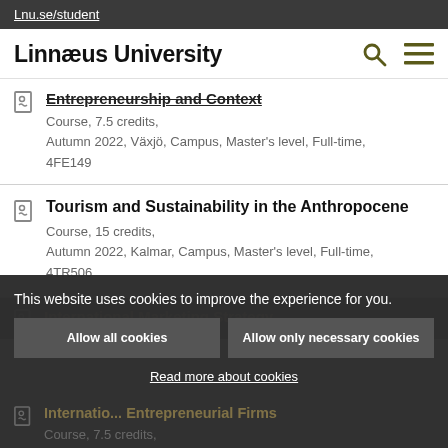Lnu.se/student
Linnæus University
Entrepreneurship and Context
Course, 7.5 credits,
Autumn 2022, Växjö, Campus, Master's level, Full-time, 4FE149
Tourism and Sustainability in the Anthropocene
Course, 15 credits,
Autumn 2022, Kalmar, Campus, Master's level, Full-time, 4TR506
International Marketing Strategy
Internatio... Entrepreneurial Firms
Course, 7.5 credits,
This website uses cookies to improve the experience for you.
Allow all cookies
Allow only necessary cookies
Read more about cookies